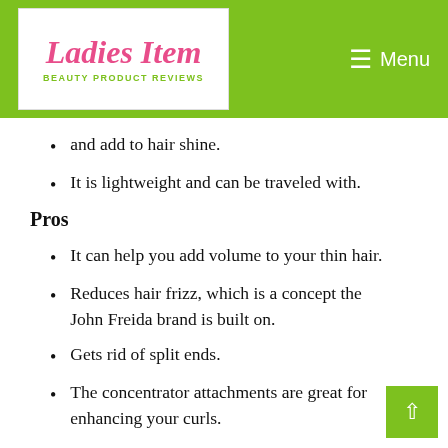Ladies Item — Beauty Product Reviews | Menu
and add to hair shine.
It is lightweight and can be traveled with.
Pros
It can help you add volume to your thin hair.
Reduces hair frizz, which is a concept the John Freida brand is built on.
Gets rid of split ends.
The concentrator attachments are great for enhancing your curls.